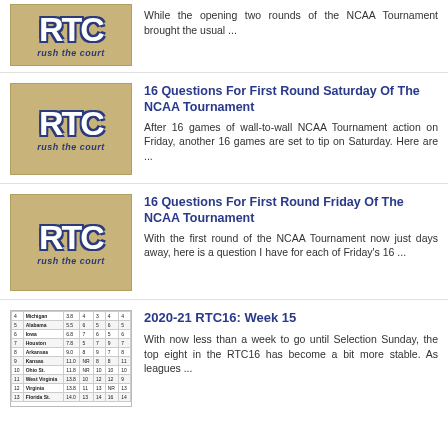[Figure (logo): Rush The Court logo - RTC letters on tan/wood background with 'rush the court' text below]
While the opening two rounds of the NCAA Tournament brought the usual ...
[Figure (logo): Rush The Court logo - RTC letters on tan/wood background with 'rush the court' text below]
16 Questions For First Round Saturday Of The NCAA Tournament
After 16 games of wall-to-wall NCAA Tournament action on Friday, another 16 games are set to tip on Saturday. Here are ...
[Figure (logo): Rush The Court logo - RTC letters on tan/wood background with 'rush the court' text below]
16 Questions For First Round Friday Of The NCAA Tournament
With the first round of the NCAA Tournament now just days away, here is a question I have for each of Friday's 16 ...
[Figure (table-as-image): Small rankings table showing teams like Michigan, Alabama, Iowa, Houston, Arkansas, Kansas, Ohio St., West Virginia, Virginia, Florida St. with numeric rankings]
2020-21 RTC16: Week 15
With now less than a week to go until Selection Sunday, the top eight in the RTC16 has become a bit more stable. As leagues ...